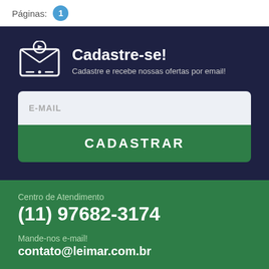Páginas: 1
Cadastre-se!
Cadastre e recebe nossas ofertas por email!
E-MAIL
CADASTRAR
Centro de Atendimento
(11) 97682-3174
Mande-nos e-mail!
contato@leimar.com.br